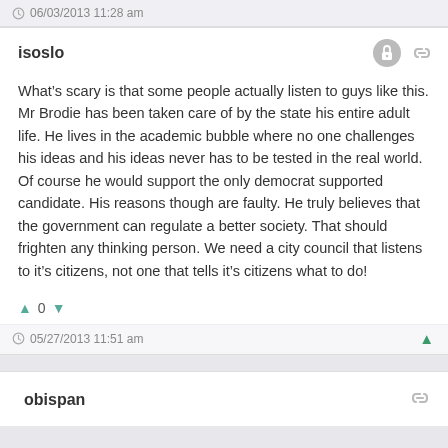06/03/2013 11:28 am
isoslo
What’s scary is that some people actually listen to guys like this. Mr Brodie has been taken care of by the state his entire adult life. He lives in the academic bubble where no one challenges his ideas and his ideas never has to be tested in the real world. Of course he would support the only democrat supported candidate. His reasons though are faulty. He truly believes that the government can regulate a better society. That should frighten any thinking person. We need a city council that listens to it’s citizens, not one that tells it’s citizens what to do!
0
05/27/2013 11:51 am
obispan